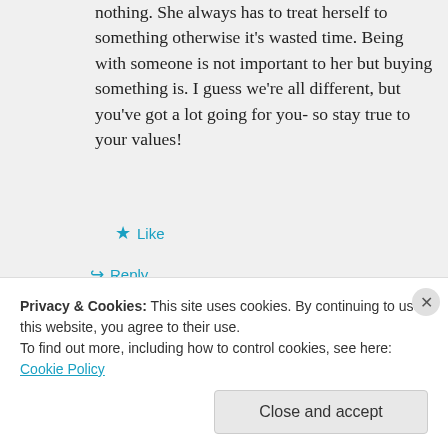nothing. She always has to treat herself to something otherwise it's wasted time. Being with someone is not important to her but buying something is. I guess we're all different, but you've got a lot going for you- so stay true to your values!
★ Like
↪ Reply
normanadro on March 5, 2013 at 2:03
Privacy & Cookies: This site uses cookies. By continuing to use this website, you agree to their use. To find out more, including how to control cookies, see here: Cookie Policy